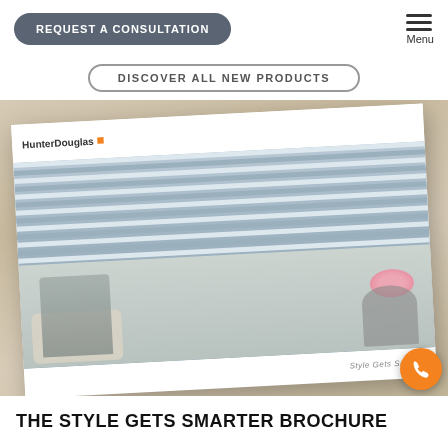REQUEST A CONSULTATION | Menu
DISCOVER ALL NEW PRODUCTS
[Figure (photo): A HunterDouglas 'Style Gets Smarter' brochure lying on a wood-grain surface. The brochure cover shows venetian blinds, a woman sitting in a chair, a side table with flowers, and the text 'Style Gets Smarter'.]
THE STYLE GETS SMARTER BROCHURE